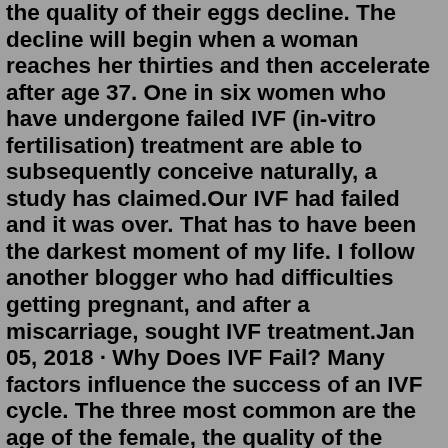the quality of their eggs decline. The decline will begin when a woman reaches her thirties and then accelerate after age 37. One in six women who have undergone failed IVF (in-vitro fertilisation) treatment are able to subsequently conceive naturally, a study has claimed.Our IVF had failed and it was over. That has to have been the darkest moment of my life. I follow another blogger who had difficulties getting pregnant, and after a miscarriage, sought IVF treatment.Jan 05, 2018 · Why Does IVF Fail? Many factors influence the success of an IVF cycle. The three most common are the age of the female, the quality of the embryo, and the lack of ovarian response. As women age, they produce fewer ages and the quality of their eggs decline. The decline will begin when a woman reaches her thirties and then accelerate after age 37. Sep 29, 2017 · If you have more specific questions about the next steps after a failed cycle, you can schedule an appointment at any of the Aspire Fertility Clinics or call the: Houston Clinic at (713) 425-3003. Dallas Clinic at (214) 414-